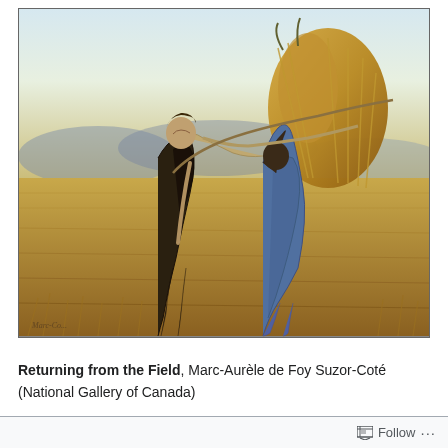[Figure (illustration): Oil painting 'Returning from the Field' by Marc-Aurèle de Foy Suzor-Coté. Two farm workers in a golden wheat field — a man carrying a wooden pole/scythe and a woman bent under the weight of a large sheaf of wheat on her back. Rolling hills and a pale sky in the background. Artist signature visible at lower left.]
Returning from the Field, Marc-Aurèle de Foy Suzor-Coté (National Gallery of Canada)
Returning from the Field
Follow